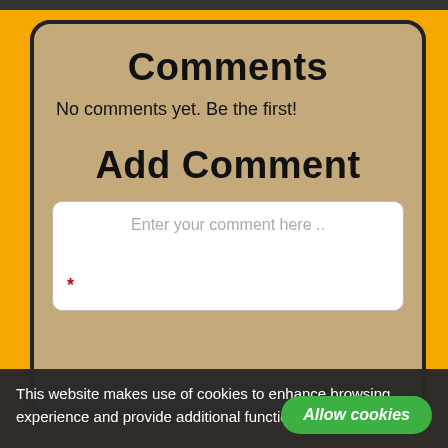Comments
No comments yet. Be the first!
Add Comment
Enter your comment here ..
*
This website makes use of cookies to enhance browsing experience and provide additional functionality. Details  Allow cookies